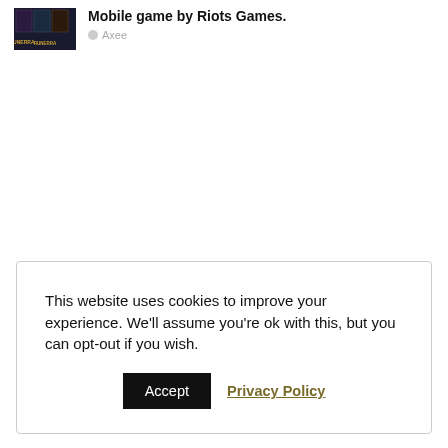[Figure (screenshot): Thumbnail image of a mobile game with dark fantasy card artwork and the word RUNERRA visible]
Mobile game by Riots Games.
Axee
This website uses cookies to improve your experience. We'll assume you're ok with this, but you can opt-out if you wish.
Accept   Privacy Policy